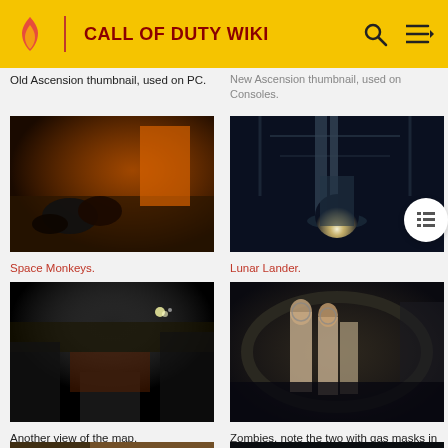CALL OF DUTY WIKI
Old Ascension thumbnail, used on PC.
New Ascension thumbnail, used on Consoles.
[Figure (photo): Space Monkeys - game screenshot showing zombie-like monkeys in a dark orange-lit room]
[Figure (photo): Lunar Lander - game screenshot showing a rocket or lander with bright engine glow, sci-fi industrial setting]
Space Monkeys.
Lunar Lander.
[Figure (photo): Another view of the map - dark outdoor map view with lights and infrastructure visible at night]
[Figure (photo): Zombies, note the two with gas masks in the front - zombies in an industrial circular room]
Another view of the map.
Zombies, note the two with gas masks in the front.
[Figure (photo): Partially visible image at bottom left - appears to show illustrated/comic-style content]
[Figure (photo): Partially visible image at bottom right - dark screenshot]